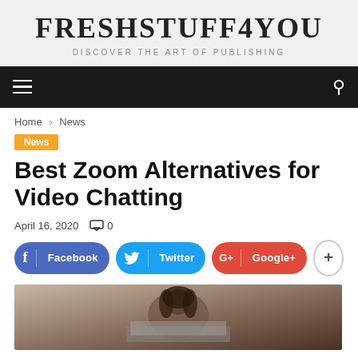FRESHSTUFF4YOU
DISCOVER THE ART OF PUBLISHING
Home › News
News
Best Zoom Alternatives for Video Chatting
April 16, 2020   0
Facebook   Twitter   Google+   +
[Figure (photo): Person with curly hair looking at a laptop, viewed from slightly above]